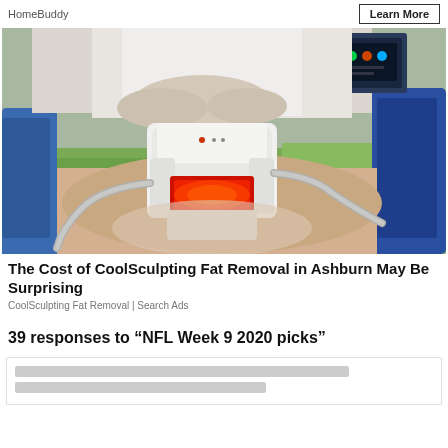HomeBuddy   Learn More
[Figure (photo): Medical professional performing CoolSculpting fat removal procedure on a patient using a white device with red light, patient covered with green towel, blue treatment chair visible, medical monitor in background.]
The Cost of CoolSculpting Fat Removal in Ashburn May Be Surprising
CoolSculpting Fat Removal | Search Ads
39 responses to “NFL Week 9 2020 picks”
[comment preview lines]